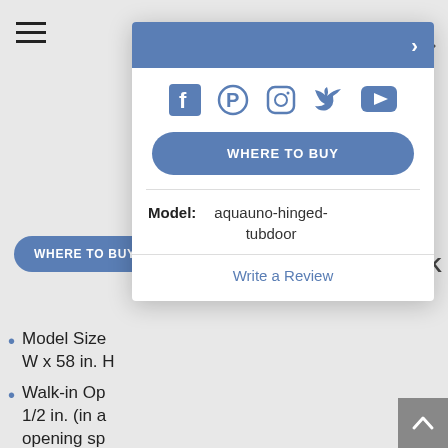[Figure (screenshot): Navigation overlay panel with social media icons (Facebook, Pinterest, Instagram, Twitter, YouTube), a WHERE TO BUY button, model info (aquauno-hinged-tubdoor), and Write a Review link. Behind the panel: hamburger menu, WHERE TO BUY button, CK text, and product bullet list.]
Model Size W x 58 in. H
Walk-in Opening 1/2 in. (in a opening sp
Configuration consists of a Single Panel Swing Door
Great choice for smaller bathrooms, where a sliding door will not work
ATTENTION! This
specific layout
Hardware Finish: Chrome
Suitable for installation on any straight (not curved) bathtub
Also available with